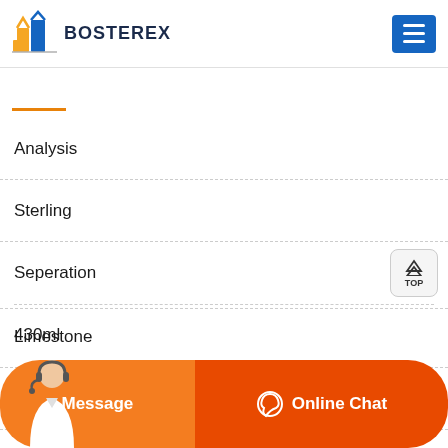BOSTEREX
Analysis
Sterling
Seperation
Limestone
Pressure
430ml
Message   Online Chat